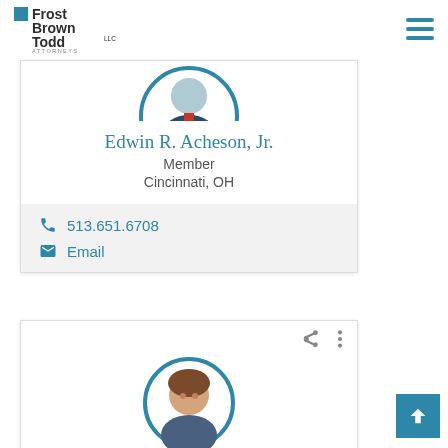Frost Brown Todd LLC - Attorneys
[Figure (photo): Circular portrait photo of Edwin R. Acheson Jr. in suit and tie, partially cropped at top]
Edwin R. Acheson, Jr.
Member
Cincinnati, OH
513.651.6708
Email
[Figure (photo): Circular portrait photo of a woman with short brown hair, partially shown at bottom of page]